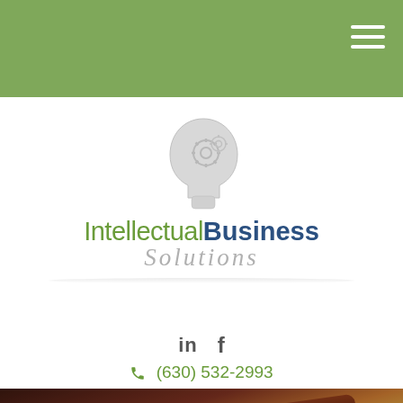Navigation bar with hamburger menu
[Figure (logo): Intellectual Business Solutions logo with a stylized silver head/brain icon above the text. 'Intellectual' in green, 'Business' in dark blue bold, 'Solutions' in italic gray script below.]
in  f
(630) 532-2993
[Figure (photo): Close-up photo of a judge's gavel (dark wood and gold band) resting on a surface, blurred background.]